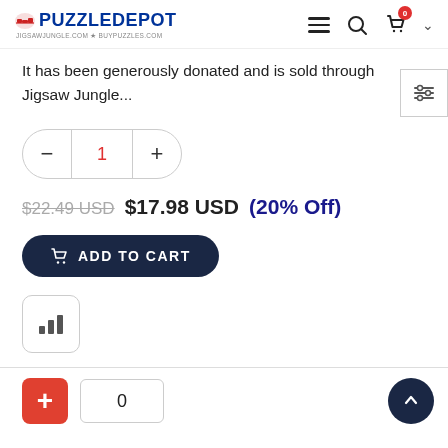PuzzleDepot - jigsawjungle.com * buypuzzles.com
It has been generously donated and is sold through Jigsaw Jungle...
1
$22.49 USD $17.98 USD (20% Off)
ADD TO CART
[Figure (screenshot): Bar chart icon button in a rounded square]
+ 0